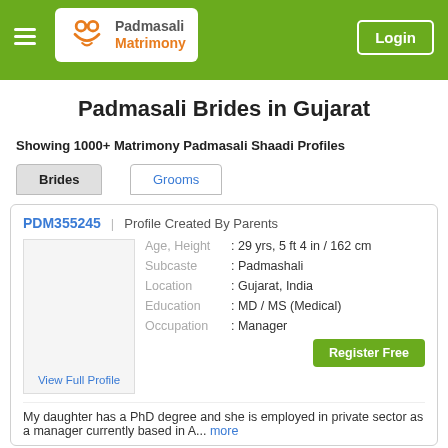Padmasali Matrimony — Login
Padmasali Brides in Gujarat
Showing 1000+ Matrimony Padmasali Shaadi Profiles
Brides
Grooms
PDM355245 | Profile Created By Parents
[Figure (other): Profile photo placeholder with View Full Profile link]
| Field | Value |
| --- | --- |
| Age, Height | : 29 yrs, 5 ft 4 in / 162 cm |
| Subcaste | : Padmashali |
| Location | : Gujarat, India |
| Education | : MD / MS (Medical) |
| Occupation | : Manager |
Register Free
My daughter has a PhD degree and she is employed in private sector as a manager currently based in A... more